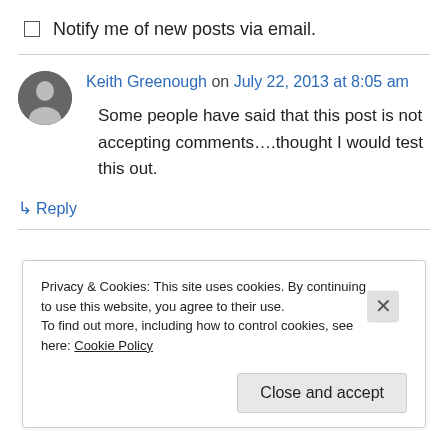Notify me of new posts via email.
Keith Greenough on July 22, 2013 at 8:05 am
Some people have said that this post is not accepting comments....thought I would test this out.
↳ Reply
Privacy & Cookies: This site uses cookies. By continuing to use this website, you agree to their use. To find out more, including how to control cookies, see here: Cookie Policy
Close and accept